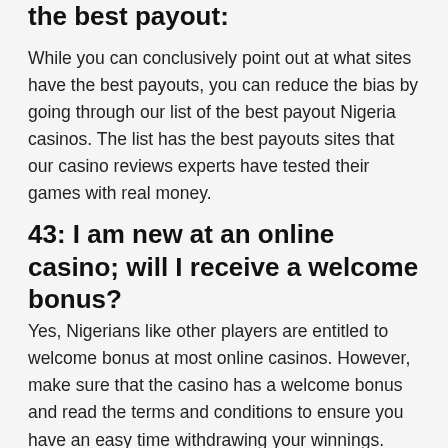the best payout:
While you can conclusively point out at what sites have the best payouts, you can reduce the bias by going through our list of the best payout Nigeria casinos. The list has the best payouts sites that our casino reviews experts have tested their games with real money.
43: I am new at an online casino; will I receive a welcome bonus?
Yes, Nigerians like other players are entitled to welcome bonus at most online casinos. However, make sure that the casino has a welcome bonus and read the terms and conditions to ensure you have an easy time withdrawing your winnings. Check our best online casino bonuses for Nigeria players page to get a list of casino sites with the best bonuses.